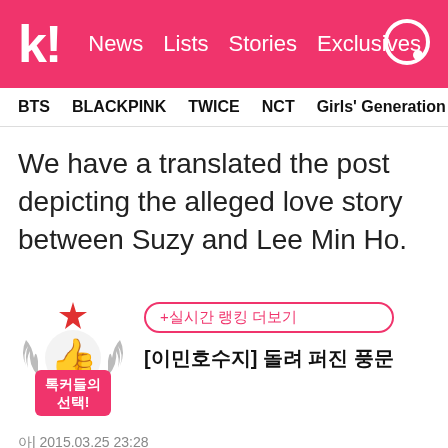k! News Lists Stories Exclusives
BTS  BLACKPINK  TWICE  NCT  Girls' Generation  aespa
We have a translated the post depicting the alleged love story between Suzy and Lee Min Ho.
[Figure (screenshot): Korean community post thumbnail with ranking badge showing laurel wreath, thumbs up icon, star, red '톡커들의 선택!' label, pink outlined tag '+실시간 랭킹 더보기', and post title '[이민호수지] 돌려 퍼진 풍문']
아| 2015.03.25 23:28
조회 58,621 | 추천 202